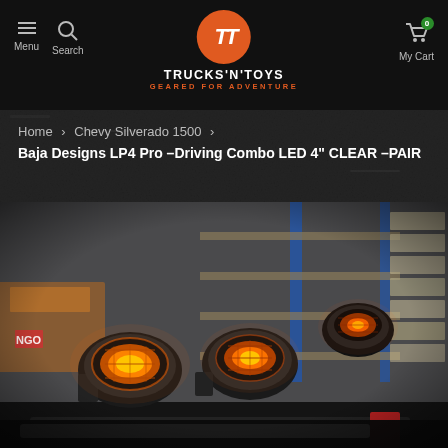TRUCKS'N'TOYS — GEARED FOR ADVENTURE — Menu | Search | My Cart (0)
Home > Chevy Silverado 1500 > Baja Designs LP4 Pro –Driving Combo LED 4" CLEAR –PAIR
[Figure (photo): Multiple Baja Designs LP4 Pro LED driving lights mounted on a bar, showing amber/orange illumination, photographed in a warehouse setting with shelving and boxes in the background.]